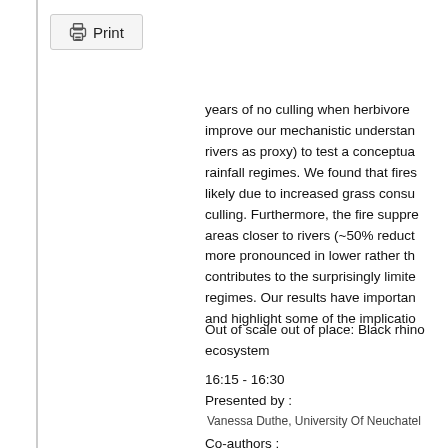Print
years of no culling when herbivore improve our mechanistic understan rivers as proxy) to test a conceptua rainfall regimes. We found that fires likely due to increased grass consu culling. Furthermore, the fire suppre areas closer to rivers (~50% reduct more pronounced in lower rather th contributes to the surprisingly limite regimes. Our results have importan and highlight some of the implicatio
Out of scale out of place: Black rhino ecosystem
16:15 - 16:30
Presented by :
Vanessa Duthe, University Of Neuchatel
Co-authors :